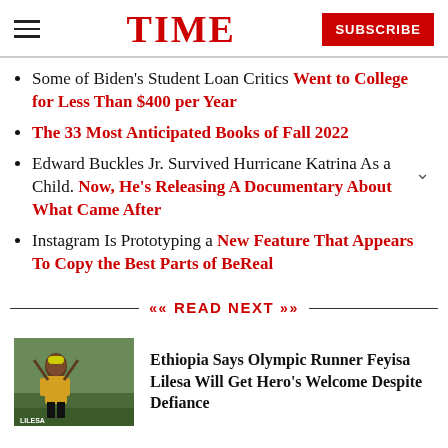TIME  SUBSCRIBE
Some of Biden's Student Loan Critics Went to College for Less Than $400 per Year
The 33 Most Anticipated Books of Fall 2022
Edward Buckles Jr. Survived Hurricane Katrina As a Child. Now, He's Releasing A Documentary About What Came After
Instagram Is Prototyping a New Feature That Appears To Copy the Best Parts of BeReal
READ NEXT
[Figure (photo): Photo of athlete Feyisa Lilesa in racing uniform]
Ethiopia Says Olympic Runner Feyisa Lilesa Will Get Hero's Welcome Despite Defiance